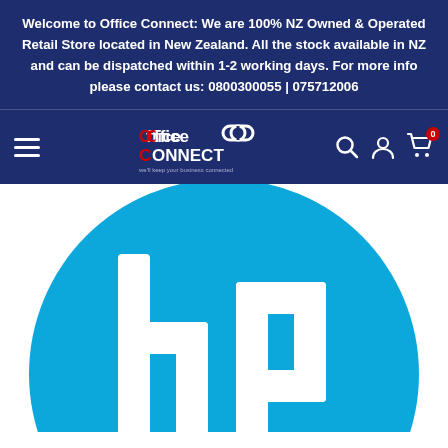Welcome to Office Connect: We are 100% NZ Owned & Operated Retail Store located in New Zealand. All the stock available in NZ and can be dispatched within 1-2 working days. For more info please contact us: 0800300055 | 075712006
[Figure (logo): Office Connect logo — white text 'Office CONNECT' with red letter O and C, and a chain-link icon, on dark blue background; navigation bar with hamburger menu, search, user, and cart icons]
[Figure (logo): HP logo — large cyan/light-blue HP circle logo on white background, partially cropped at bottom]